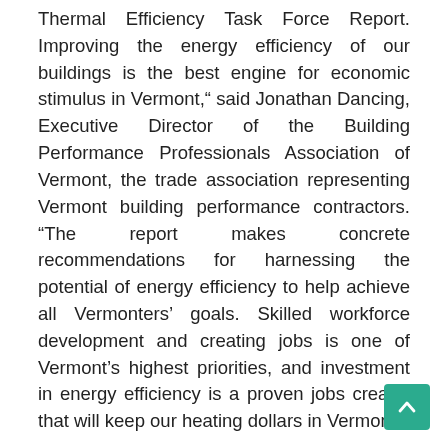Thermal Efficiency Task Force Report. Improving the energy efficiency of our buildings is the best engine for economic stimulus in Vermont," said Jonathan Dancing, Executive Director of the Building Performance Professionals Association of Vermont, the trade association representing Vermont building performance contractors. “The report makes concrete recommendations for harnessing the potential of energy efficiency to help achieve all Vermonters’ goals. Skilled workforce development and creating jobs is one of Vermont’s highest priorities, and investment in energy efficiency is a proven jobs creator that will keep our heating dollars in Vermont.”
“Renewable Energy Vermont is pleased to see recommendations for expansion of not just efficiency, which is critical, but the next step – investment in renewable heat – as well,” said Gabrielle Stebbins, Executive Director of Renewable Energy Vermont. “The cost of fossil fuels has been going up and up, so